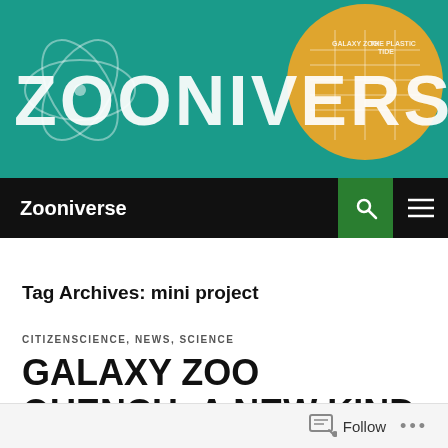[Figure (illustration): Zooniverse website banner with teal background, large white ZOONIVERSE text, orange circle graphic, and scientific illustrations]
Zooniverse
Tag Archives: mini project
CITIZENSCIENCE, NEWS, SCIENCE
GALAXY ZOO QUENCH: A NEW KIND OF CITIZEN SCIENCE
Follow